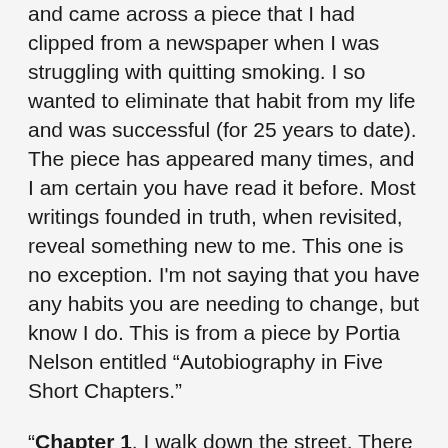and came across a piece that I had clipped from a newspaper when I was struggling with quitting smoking. I so wanted to eliminate that habit from my life and was successful (for 25 years to date). The piece has appeared many times, and I am certain you have read it before. Most writings founded in truth, when revisited, reveal something new to me. This one is no exception. I'm not saying that you have any habits you are needing to change, but know I do. This is from a piece by Portia Nelson entitled “Autobiography in Five Short Chapters.”
“Chapter 1. I walk down the street. There is a deep hole in the sidewalk. I fall in. I am lost. I am helpless. It isn’t my fault. It takes forever to find a way out.